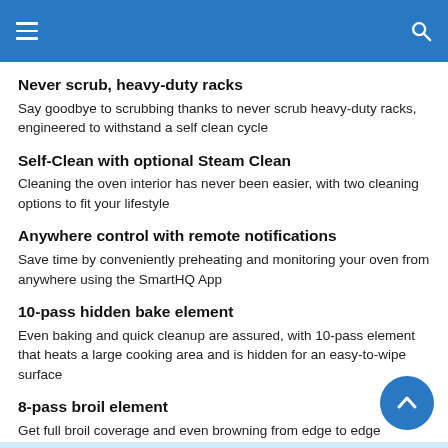≡  🔍
Never scrub, heavy-duty racks
Say goodbye to scrubbing thanks to never scrub heavy-duty racks, engineered to withstand a self clean cycle
Self-Clean with optional Steam Clean
Cleaning the oven interior has never been easier, with two cleaning options to fit your lifestyle
Anywhere control with remote notifications
Save time by conveniently preheating and monitoring your oven from anywhere using the SmartHQ App
10-pass hidden bake element
Even baking and quick cleanup are assured, with 10-pass element that heats a large cooking area and is hidden for an easy-to-wipe surface
8-pass broil element
Get full broil coverage and even browning from edge to edge